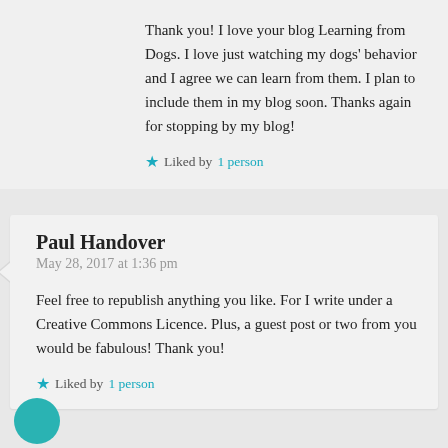Thank you! I love your blog Learning from Dogs. I love just watching my dogs' behavior and I agree we can learn from them. I plan to include them in my blog soon. Thanks again for stopping by my blog!
Liked by 1 person
Paul Handover
May 28, 2017 at 1:36 pm
Feel free to republish anything you like. For I write under a Creative Commons Licence. Plus, a guest post or two from you would be fabulous! Thank you!
Liked by 1 person